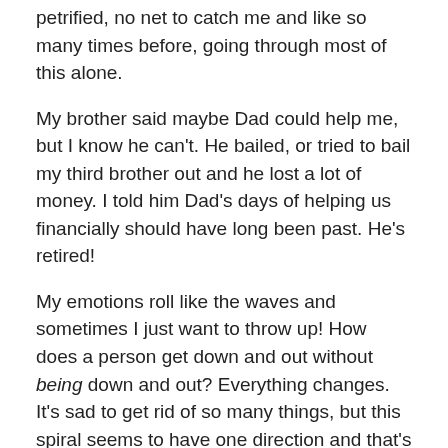petrified, no net to catch me and like so many times before, going through most of this alone.
My brother said maybe Dad could help me, but I know he can't. He bailed, or tried to bail my third brother out and he lost a lot of money. I told him Dad's days of helping us financially should have long been past. He's retired!
My emotions roll like the waves and sometimes I just want to throw up! How does a person get down and out without being down and out? Everything changes. It's sad to get rid of so many things, but this spiral seems to have one direction and that's down.
[Heavy sigh]
I filled out the DSHS paperwork today finally, after several tries at getting it done, the Unemployment paperwork is